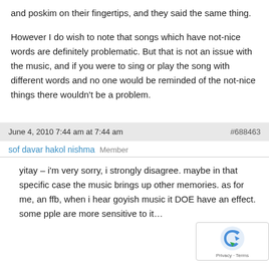and poskim on their fingertips, and they said the same thing.
However I do wish to note that songs which have not-nice words are definitely problematic. But that is not an issue with the music, and if you were to sing or play the song with different words and no one would be reminded of the not-nice things there wouldn't be a problem.
June 4, 2010 7:44 am at 7:44 am  #688463
sof davar hakol nishma  Member
yitay – i'm very sorry, i strongly disagree. maybe in that specific case the music brings up other memories. as for me, an ffb, when i hear goyish music it DOE have an effect. some pple are more sensitive to it…